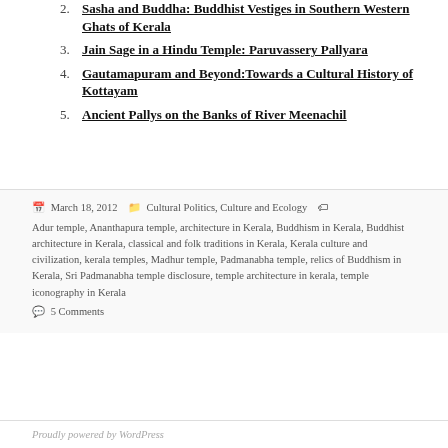2. Sasha and Buddha: Buddhist Vestiges in Southern Western Ghats of Kerala
3. Jain Sage in a Hindu Temple: Paruvassery Pallyara
4. Gautamapuram and Beyond: Towards a Cultural History of Kottayam
5. Ancient Pallys on the Banks of River Meenachil
Posted on March 18, 2012  Categories Cultural Politics, Culture and Ecology  Tags Adur temple, Ananthapura temple, architecture in Kerala, Buddhism in Kerala, Buddhist architecture in Kerala, classical and folk traditions in Kerala, Kerala culture and civilization, kerala temples, Madhur temple, Padmanabha temple, relics of Buddhism in Kerala, Sri Padmanabha temple disclosure, temple architecture in kerala, temple iconography in Kerala  5 Comments
Proudly powered by WordPress